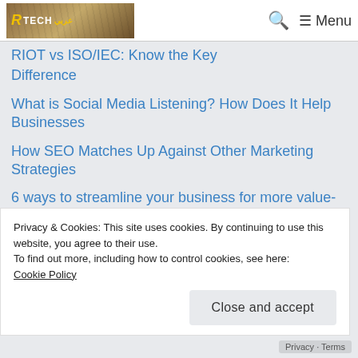TechArabia logo, search icon, Menu
RIOT vs ISO/IEC: Know the Key Difference
What is Social Media Listening? How Does It Help Businesses
How SEO Matches Up Against Other Marketing Strategies
6 ways to streamline your business for more value-adding activities
Everything You Need to Know About Flutter
Privacy & Cookies: This site uses cookies. By continuing to use this website, you agree to their use.
To find out more, including how to control cookies, see here:
Cookie Policy
Close and accept
a special Playlist
Privacy · Terms